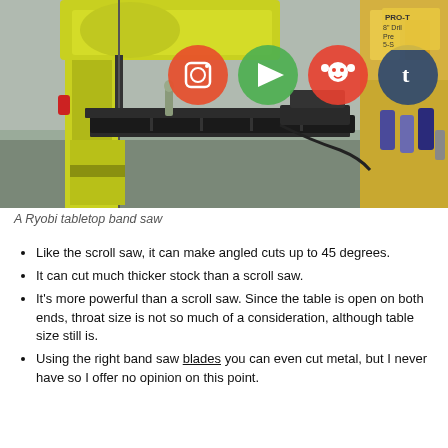[Figure (photo): A Ryobi tabletop band saw with yellow and black body, flat work table, blade guard, and workshop background with shelves and supplies. Social media share icons (Instagram, play button, Reddit, Tumblr) are overlaid at the top.]
A Ryobi tabletop band saw
Like the scroll saw, it can make angled cuts up to 45 degrees.
It can cut much thicker stock than a scroll saw.
It's more powerful than a scroll saw. Since the table is open on both ends, throat size is not so much of a consideration, although table size still is.
Using the right band saw blades you can even cut metal, but I never have so I offer no opinion on this point.